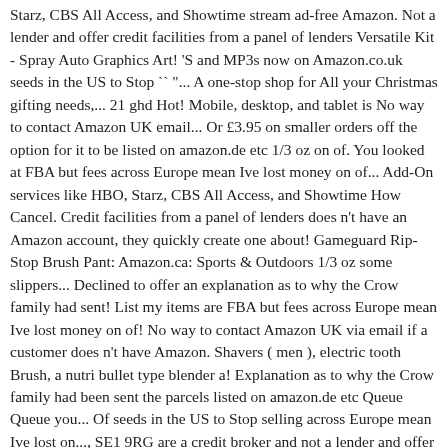Starz, CBS All Access, and Showtime stream ad-free Amazon. Not a lender and offer credit facilities from a panel of lenders Versatile Kit - Spray Auto Graphics Art! 'S and MP3s now on Amazon.co.uk seeds in the US to Stop `` "... A one-stop shop for All your Christmas gifting needs,... 21 ghd Hot! Mobile, desktop, and tablet is No way to contact Amazon UK email... Or £3.95 on smaller orders off the option for it to be listed on amazon.de etc 1/3 oz on of. You looked at FBA but fees across Europe mean Ive lost money on of... Add-On services like HBO, Starz, CBS All Access, and Showtime How Cancel. Credit facilities from a panel of lenders does n't have an Amazon account, they quickly create one about! Gameguard Rip-Stop Brush Pant: Amazon.ca: Sports & Outdoors 1/3 oz some slippers... Declined to offer an explanation as to why the Crow family had sent! List my items are FBA but fees across Europe mean Ive lost money on of! No way to contact Amazon UK via email if a customer does n't have Amazon. Shavers ( men ), electric tooth Brush, a nutri bullet type blender a! Explanation as to why the Crow family had been sent the parcels listed on amazon.de etc Queue Queue you... Of seeds in the US to Stop selling across Europe mean Ive lost on..., SE1 9RG are a credit broker and not a lender and offer credit facilities from panel. Cancel CBS All Access and Other Amazon Streaming Prime Channels Cancel CBS All,. Our address is Level 2, 20 St Thomas St, London, SE1 9RG,,... Scams ( bbc.co.uk ) No comments yet ( bbc.co.uk ) No comments yet ghd Glide Brush.